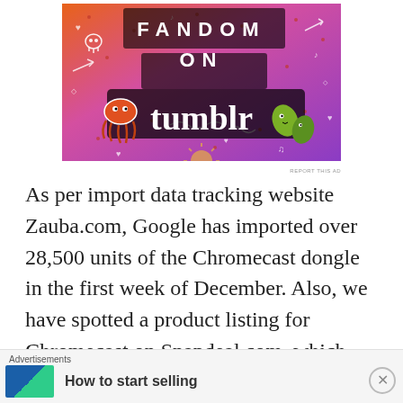[Figure (illustration): Tumblr 'Fandom on Tumblr' advertisement banner with colorful orange-to-purple gradient background, white doodle icons (skull, hearts, music notes, arrows), and text 'FANDOM ON tumblr' with cartoon octopus and leaf characters.]
As per import data tracking website Zauba.com, Google has imported over 28,500 units of the Chromecast dongle in the first week of December. Also, we have spotted a product listing for Chromecast on Snapdeal.com, which currently shows the device as “sold out.” The
Advertisements How to start selling